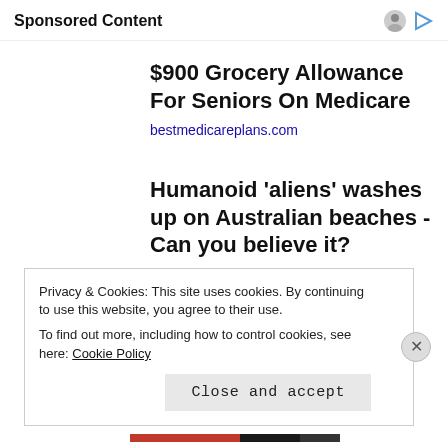Sponsored Content
$900 Grocery Allowance For Seniors On Medicare
bestmedicareplans.com
Humanoid 'aliens' washes up on Australian beaches - Can you believe it?
Washington Examiner
Privacy & Cookies: This site uses cookies. By continuing to use this website, you agree to their use.
To find out more, including how to control cookies, see here: Cookie Policy
Close and accept